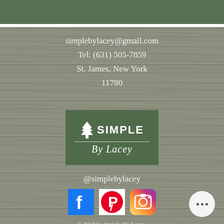simplebylacey@gmail.com
Tel: (631) 505-7859
St. James, New York
11780
[Figure (logo): Simple By Lacey logo — green rectangle background with white pine tree icon, bold 'SIMPLE' text, horizontal divider, italic 'By Lacey' script text below]
@simplebylacey
[Figure (other): Social media icons: Facebook (blue square with white f), Pinterest (white square with red P icon), Instagram (gradient square with camera icon)]
© 2018 by Simple By Lacey.